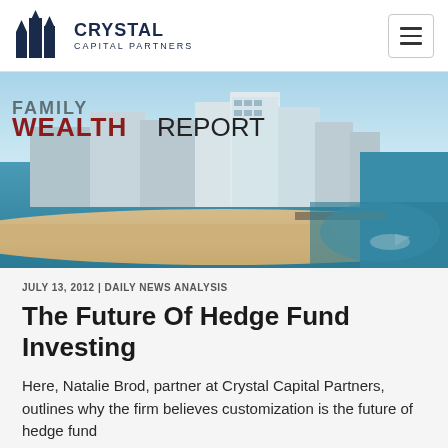[Figure (logo): Crystal Capital Partners logo with building icon and text]
[Figure (photo): Aerial coastal city skyline photo with beach, high-rise buildings, and water. Family Wealth Report logo overlaid in top-left.]
JULY 13, 2012 | DAILY NEWS ANALYSIS
The Future Of Hedge Fund Investing
Here, Natalie Brod, partner at Crystal Capital Partners, outlines why the firm believes customization is the future of hedge fund investing. We are also to understand that...